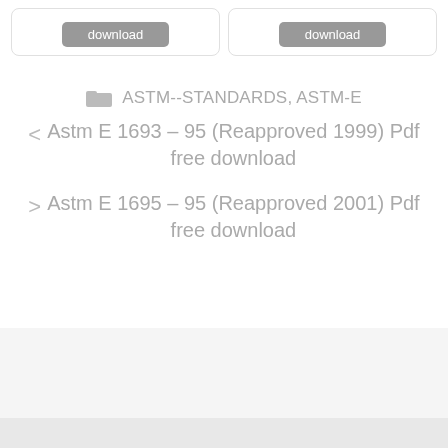[Figure (screenshot): Two download buttons inside rounded-corner card borders at the top of the page]
ASTM--STANDARDS, ASTM-E
Astm E 1693 – 95 (Reapproved 1999) Pdf free download
Astm E 1695 – 95 (Reapproved 2001) Pdf free download